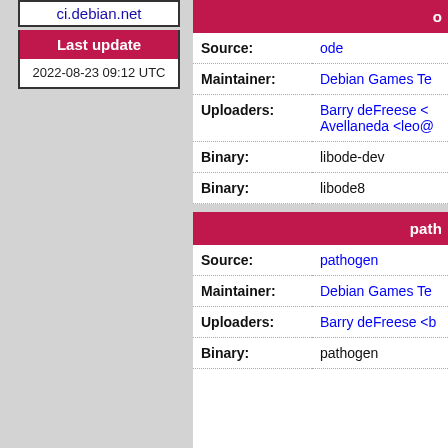ci.debian.net
Last update
2022-08-23 09:12 UTC
o
| Field | Value |
| --- | --- |
| Source: | ode |
| Maintainer: | Debian Games Te |
| Uploaders: | Barry deFreese <
Avellaneda <leo@ |
| Binary: | libode-dev |
| Binary: | libode8 |
path
| Field | Value |
| --- | --- |
| Source: | pathogen |
| Maintainer: | Debian Games Te |
| Uploaders: | Barry deFreese <b |
| Binary: | pathogen |